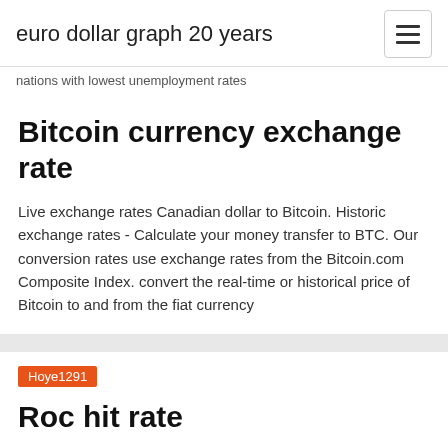euro dollar graph 20 years
nations with lowest unemployment rates
Bitcoin currency exchange rate
Live exchange rates Canadian dollar to Bitcoin. Historic exchange rates - Calculate your money transfer to BTC. Our conversion rates use exchange rates from the Bitcoin.com Composite Index. convert the real-time or historical price of Bitcoin to and from the fiat currency
Hoye1291
Roc hit rate
Key words: high-throughput screening, hit detection, error rate,